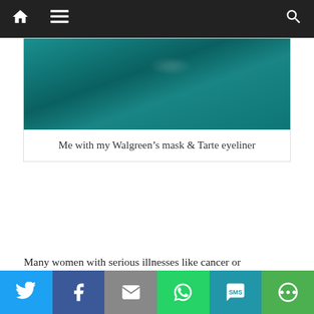Navigation bar with home, menu, and search icons
[Figure (photo): Close-up photo of a person wearing a teal/dark green mask, photo is cropped showing fabric detail]
Me with my Walgreen’s mask & Tarte eyeliner
Many women with serious illnesses like cancer or autoimmune diseases find it hard not to get the flu, which can often trigger a relapse.  Since none of us enjoys chemo or plasmapheresis or IVIG, I have to address this subject.  The best way to avoid getting the flu is to never leave the house.  But this is not practical!  Many of you are mothers who will inevitably interact with other children who are your kids’ playmates and classmates.  Unless you avoid all social
Social share buttons: Twitter, Facebook, Email, WhatsApp, SMS, More